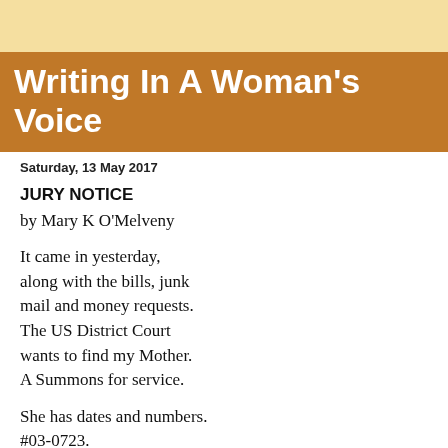Writing In A Woman's Voice
Saturday, 13 May 2017
JURY NOTICE
by Mary K O'Melveny
It came in yesterday,
along with the bills, junk
mail and money requests.
The US District Court
wants to find my Mother.
A Summons for service.
She has dates and numbers.
#03-0723.
Responsibilities.
Questionnaires to fill out.
History to recount.